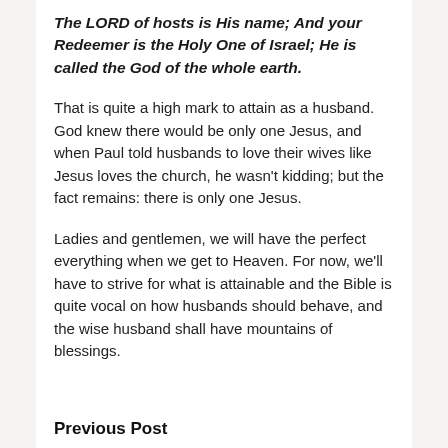The LORD of hosts is His name; And your Redeemer is the Holy One of Israel; He is called the God of the whole earth.
That is quite a high mark to attain as a husband. God knew there would be only one Jesus, and when Paul told husbands to love their wives like Jesus loves the church, he wasn't kidding; but the fact remains: there is only one Jesus.
Ladies and gentlemen, we will have the perfect everything when we get to Heaven. For now, we'll have to strive for what is attainable and the Bible is quite vocal on how husbands should behave, and the wise husband shall have mountains of blessings.
Previous Post